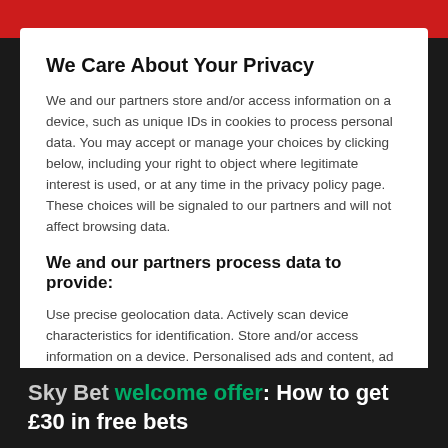We Care About Your Privacy
We and our partners store and/or access information on a device, such as unique IDs in cookies to process personal data. You may accept or manage your choices by clicking below, including your right to object where legitimate interest is used, or at any time in the privacy policy page. These choices will be signaled to our partners and will not affect browsing data.
We and our partners process data to provide:
Use precise geolocation data. Actively scan device characteristics for identification. Store and/or access information on a device. Personalised ads and content, ad and content measurement, audience insights and product development.
List of Partners (vendors)
Show Purposes
I Accept
Sky Bet welcome offer: How to get £30 in free bets